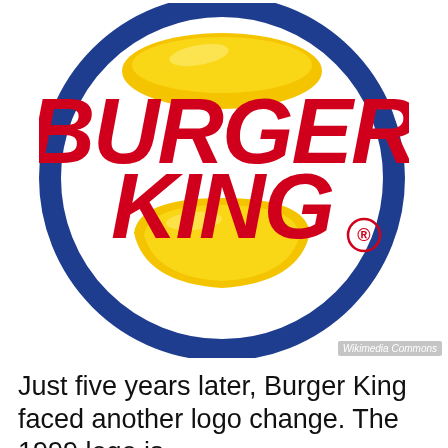[Figure (logo): Burger King 1999 logo: red 'BURGER KING' text in bold italic style, sandwiched between two golden bun-shaped arcs, encircled by a blue ring with registered trademark symbol]
Wikimedia Commons
Just five years later, Burger King faced another logo change. The 1999 logo is